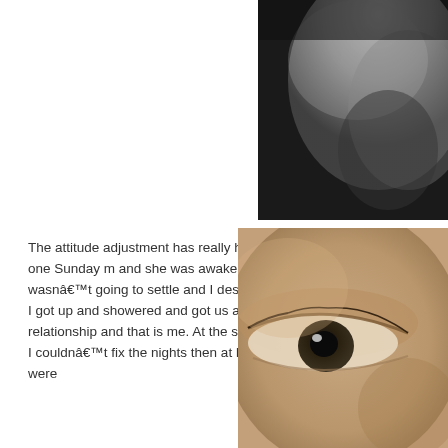[Figure (photo): Black and white close-up photograph of a baby's head/forehead, top-right corner of page, partially cropped]
The attitude adjustment has really helped with how I feel about it all, one Sunday m and she was awake and crying and I just knew she wasnâ€™t going to settle and I desperately sorry for myself. And then I got up and showered and got us all up and can be adjusted in this relationship and that is me. At the same time as I sorted my I figured if I couldnâ€™t fix the nights then at least I could make sure the days were
[Figure (photo): Sepia-toned close-up photograph of a baby's eye, right side of page, lower half]